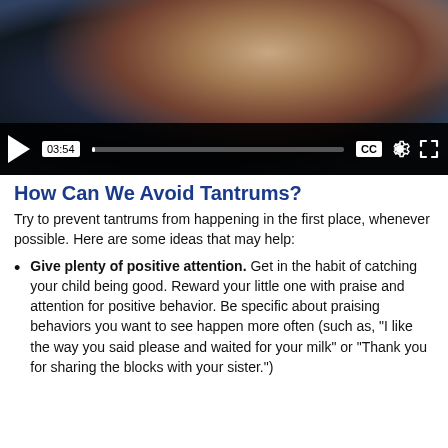[Figure (screenshot): Video player screenshot showing a mother and baby, with video controls including play button, timestamp 03:54, progress bar, CC button, settings gear, and fullscreen icon.]
How Can We Avoid Tantrums?
Try to prevent tantrums from happening in the first place, whenever possible. Here are some ideas that may help:
Give plenty of positive attention. Get in the habit of catching your child being good. Reward your little one with praise and attention for positive behavior. Be specific about praising behaviors you want to see happen more often (such as, “I like the way you said please and waited for your milk” or “Thank you for sharing the blocks with your sister.”)